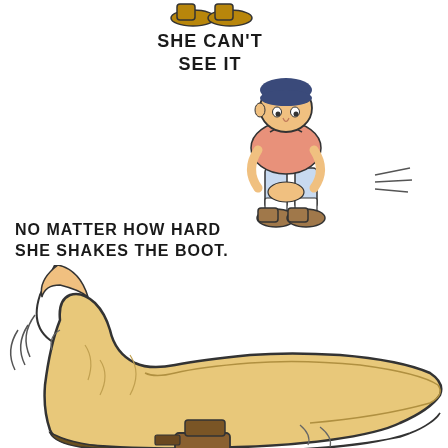[Figure (illustration): Cartoon of a person bending over and shaking a boot, with motion lines indicating shaking. Partial figure at very top of page.]
SHE CAN'T SEE IT
NO MATTER HOW HARD SHE SHAKES THE BOOT.
[Figure (illustration): Close-up cartoon illustration of a large boot being shaken vigorously, with motion lines around it. A leg with a sock is visible above the boot.]